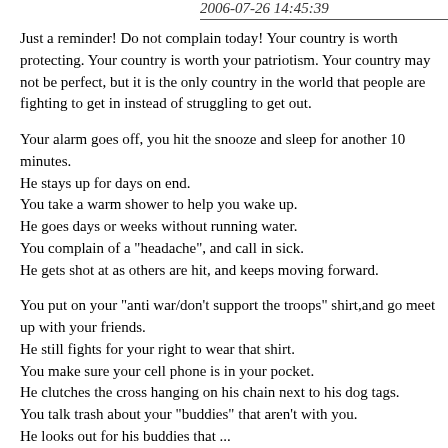2006-07-26 14:45:39
Just a reminder! Do not complain today! Your country is worth protecting. Your country is worth your patriotism. Your country may not be perfect, but it is the only country in the world that people are fighting to get in instead of struggling to get out.
Your alarm goes off, you hit the snooze and sleep for another 10 minutes.
He stays up for days on end.
You take a warm shower to help you wake up.
He goes days or weeks without running water.
You complain of a "headache", and call in sick.
He gets shot at as others are hit, and keeps moving forward.
You put on your "anti war/don't support the troops" shirt,and go meet up with your friends.
He still fights for your right to wear that shirt.
You make sure your cell phone is in your pocket.
He clutches the cross hanging on his chain next to his dog tags.
You talk trash about your "buddies" that aren't with you.
He looks out for his buddies that ...